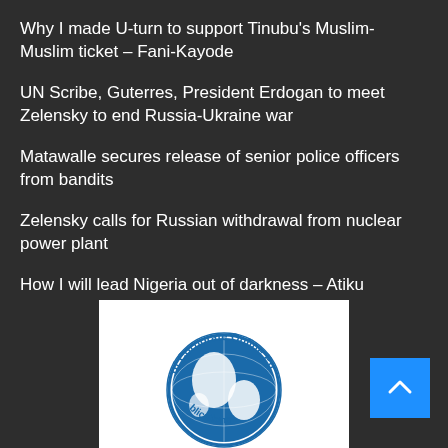Why I made U-turn to support Tinubu's Muslim-Muslim ticket – Fani-Kayode
UN Scribe, Guterres, President Erdogan to meet Zelensky to end Russia-Ukraine war
Matawalle secures release of senior police officers from bandits
Zelensky calls for Russian withdrawal from nuclear power plant
How I will lead Nigeria out of darkness – Atiku
[Figure (logo): Corporate Online Publications globe logo — circular seal with blue globe and text 'of Corporate Online Pu[blications]']